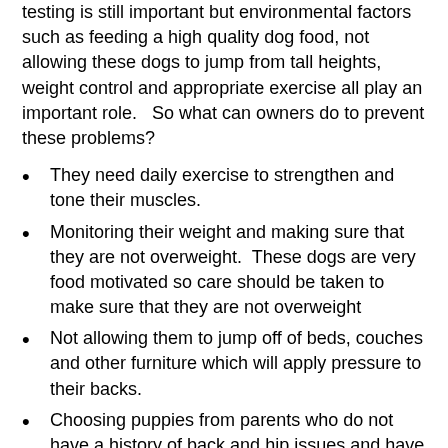testing is still important but environmental factors such as feeding a high quality dog food, not allowing these dogs to jump from tall heights, weight control and appropriate exercise all play an important role.   So what can owners do to prevent these problems?
They need daily exercise to strengthen and tone their muscles.
Monitoring their weight and making sure that they are not overweight.  These dogs are very food motivated so care should be taken to make sure that they are not overweight
Not allowing them to jump off of beds, couches and other furniture which will apply pressure to their backs.
Choosing puppies from parents who do not have a history of back and hip issues and have undergone genetic testing.
Choose a breeder that makes sure that babies are raised on a surface that provides traction thus preventing slipping, feeds a high quality puppy food